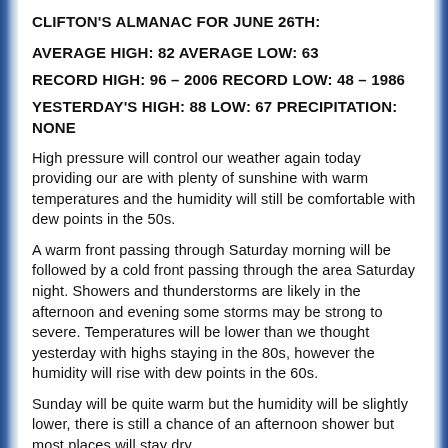CLIFTON'S ALMANAC FOR JUNE 26TH:
AVERAGE HIGH: 82 AVERAGE LOW: 63
RECORD HIGH: 96 – 2006 RECORD LOW: 48 – 1986
YESTERDAY'S HIGH: 88 LOW: 67 PRECIPITATION: NONE
High pressure will control our weather again today providing our are with plenty of sunshine with warm temperatures and the humidity will still be comfortable with dew points in the 50s.
A warm front passing through Saturday morning will be followed by a cold front passing through the area Saturday night. Showers and thunderstorms are likely in the afternoon and evening some storms may be strong to severe. Temperatures will be lower than we thought yesterday with highs staying in the 80s, however the humidity will rise with dew points in the 60s.
Sunday will be quite warm but the humidity will be slightly lower, there is still a chance of an afternoon shower but most places will stay dry.